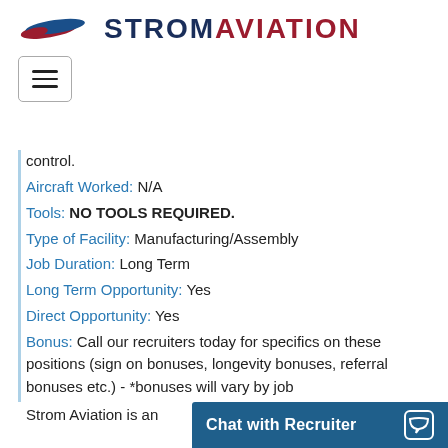STROM AVIATION
control.
Aircraft Worked: N/A
Tools: NO TOOLS REQUIRED.
Type of Facility: Manufacturing/Assembly
Job Duration: Long Term
Long Term Opportunity: Yes
Direct Opportunity: Yes
Bonus: Call our recruiters today for specifics on these positions (sign on bonuses, longevity bonuses, referral bonuses etc.) - *bonuses will vary by job
Strom Aviation is an
Chat with Recruiter